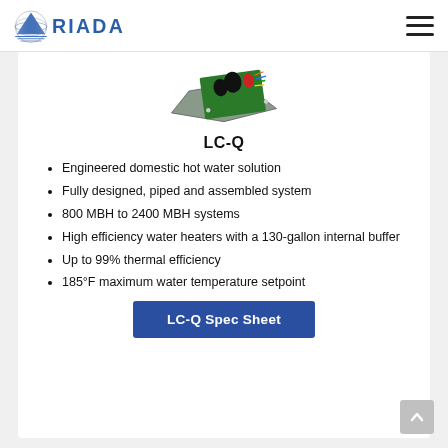RIADA
[Figure (photo): LC-Q product photo showing a circuit board/heating system component with black and red components on a metal base plate]
LC-Q
Engineered domestic hot water solution
Fully designed, piped and assembled system
800 MBH to 2400 MBH systems
High efficiency water heaters with a 130-gallon internal buffer
Up to 99% thermal efficiency
185°F maximum water temperature setpoint
LC-Q Spec Sheet